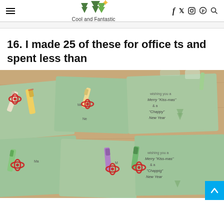Cool and Fantastic — navigation header with hamburger menu, logo, and social icons (f, twitter, instagram, pinterest, search)
16. I made 25 of these for office ts and spent less than
[Figure (photo): Photo of green cards with lip balm tubes tied with red ribbons, handwritten 'Merry Kiss-mas & a Chappy New Year' messages, arranged on a wooden surface — DIY office Christmas gifts.]